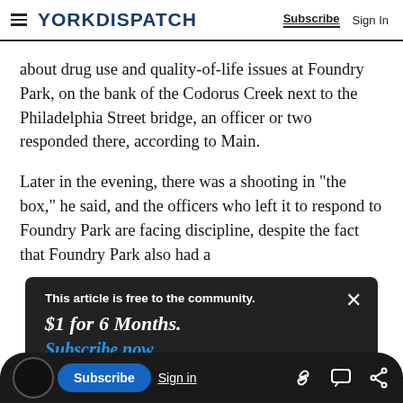YORK DISPATCH | Subscribe | Sign In
about drug use and quality-of-life issues at Foundry Park, on the bank of the Codorus Creek next to the Philadelphia Street bridge, an officer or two responded there, according to Main.
Later in the evening, there was a shooting in "the box," he said, and the officers who left it to respond to Foundry Park are facing discipline, despite the fact that Foundry Park also had a
This article is free to the community.
$1 for 6 Months.
Subscribe now